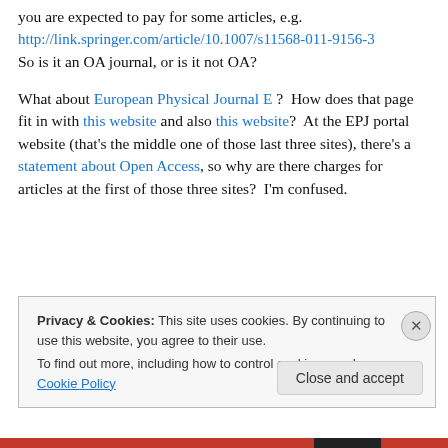you are expected to pay for some articles, e.g.
http://link.springer.com/article/10.1007/s11568-011-9156-3
So is it an OA journal, or is it not OA?
What about European Physical Journal E ? How does that page fit in with this website and also this website? At the EPJ portal website (that’s the middle one of those last three sites), there’s a statement about Open Access, so why are there charges for articles at the first of those three sites? I’m confused.
Privacy & Cookies: This site uses cookies. By continuing to use this website, you agree to their use.
To find out more, including how to control cookies, see here: Cookie Policy
Close and accept